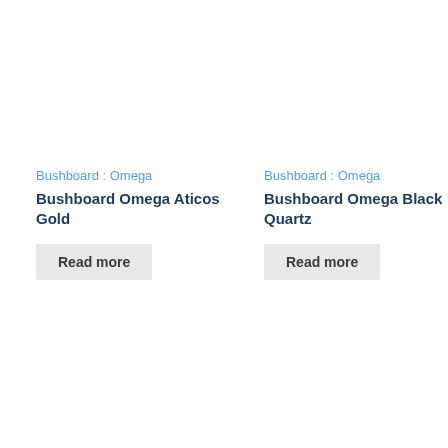Bushboard : Omega
Bushboard Omega Aticos Gold
Read more
Bushboard : Omega
Bushboard Omega Black Quartz
Read more